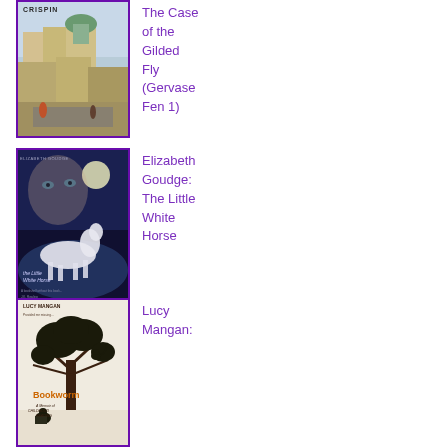[Figure (illustration): Book cover of Crispin: The Case of the Gilded Fly (Gervase Fen 1) showing an Oxford cityscape with a green dome building]
The Case of the Gilded Fly (Gervase Fen 1)
[Figure (illustration): Book cover of The Little White Horse by Elizabeth Goudge showing a mystical white horse and a girl's face against a dark blue background]
Elizabeth Goudge: The Little White Horse
[Figure (illustration): Book cover of Bookworm: A Memoir of Childhood Reading by Lucy Mangan, showing a black and white tree with a cat silhouette and a child reading]
Lucy Mangan: